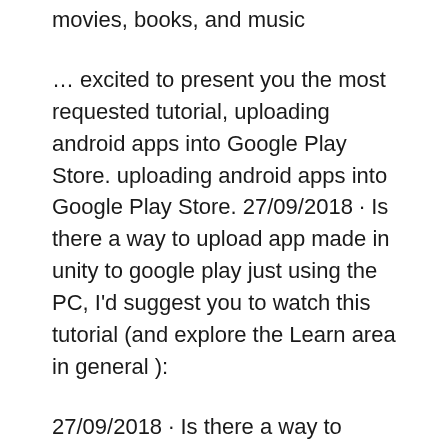movies, books, and music
… excited to present you the most requested tutorial, uploading android apps into Google Play Store. uploading android apps into Google Play Store. 27/09/2018 · Is there a way to upload app made in unity to google play just using the PC, I'd suggest you to watch this tutorial (and explore the Learn area in general ):
27/09/2018 · Is there a way to upload app made in unity to google play just using the PC, I'd suggest you to watch this tutorial (and explore the Learn area in general ): Uploading Apps to Google Play. Applications built with App Inventor can be uploaded to Google Play! Version Your